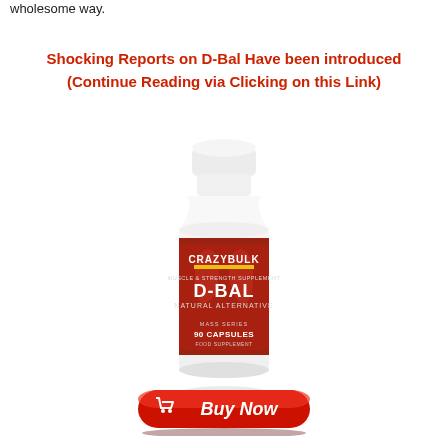wholesome way.
Shocking Reports on D-Bal Have been introduced (Continue Reading via Clicking on this Link)
[Figure (photo): CrazyBulk D-Bal muscle and strength supplement bottle, 90 capsules, natural alternative, mass series, food supplement. Red and white bottle with muscular torso on label.]
[Figure (illustration): Red Buy Now button with shopping cart icon]